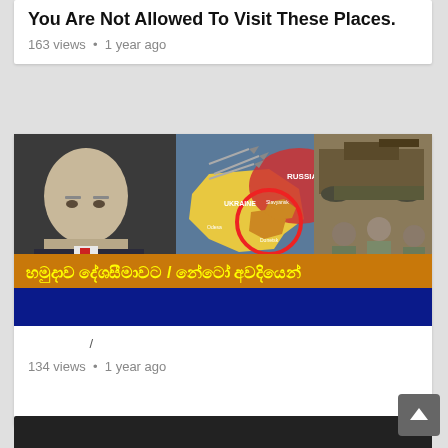You Are Not Allowed To Visit These Places.
163 views • 1 year ago
[Figure (screenshot): YouTube video thumbnail showing Putin, military jets, a map of Ukraine/Russia with Donetsk and Luhansk highlighted, soldiers, and Sinhala text about Russia's plan to attack Ukraine.]
/
134 views • 1 year ago